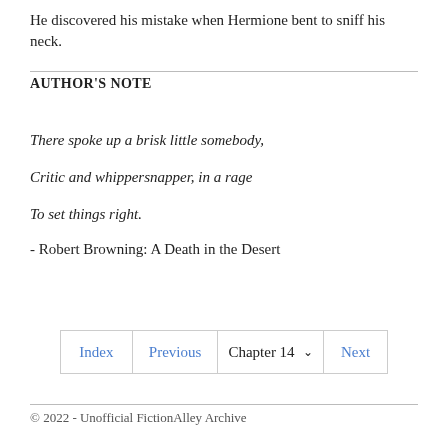He discovered his mistake when Hermione bent to sniff his neck.
AUTHOR'S NOTE
There spoke up a brisk little somebody,

Critic and whippersnapper, in a rage

To set things right.

- Robert Browning: A Death in the Desert
© 2022 - Unofficial FictionAlley Archive